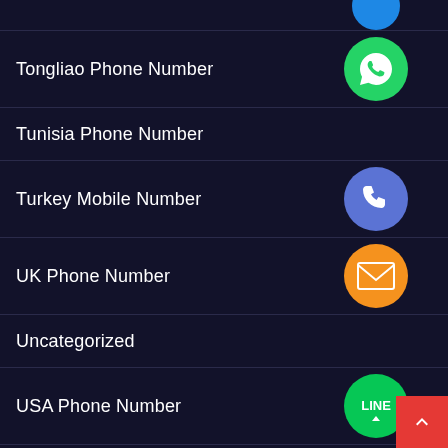Tongliao Phone Number
Tunisia Phone Number
Turkey Mobile Number
UK Phone Number
Uncategorized
USA Phone Number
Wedding Photo Editing
WhatsApp Number List
Wuhan Mobile Phone Number